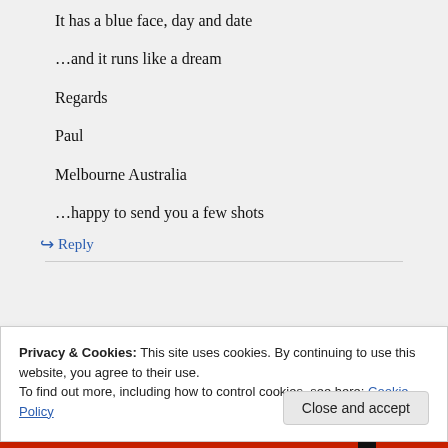It has a blue face, day and date
…and it runs like a dream
Regards
Paul
Melbourne Australia
…happy to send you a few shots
↪ Reply
Privacy & Cookies: This site uses cookies. By continuing to use this website, you agree to their use.
To find out more, including how to control cookies, see here: Cookie Policy